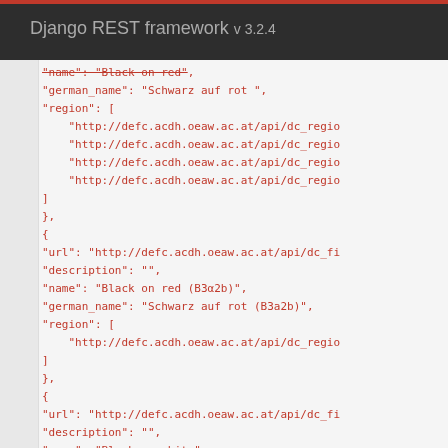Django REST framework v 3.2.4
JSON code block showing API response data with fields: name, german_name, region (array of URLs), url, description, name (Black on red (B3α2b)), german_name (Schwarz auf rot (B3a2b)), region, url, description, name (Black on white), german_name, region